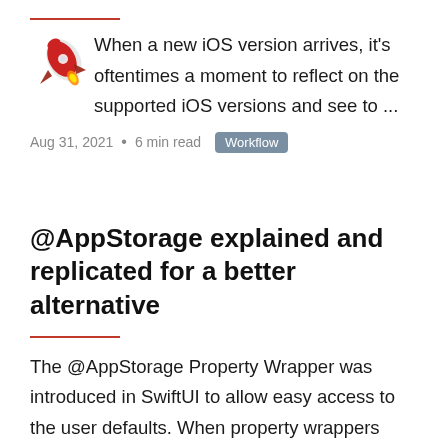[Figure (illustration): Red rocket emoji/illustration overlapping with the beginning of the text paragraph]
When a new iOS version arrives, it's oftentimes a moment to reflect on the supported iOS versions and see to ...
Aug 31, 2021 • 6 min read  Workflow
@AppStorage explained and replicated for a better alternative
The @AppStorage Property Wrapper was introduced in SwiftUI to allow easy access to the user defaults. When property wrappers were ...
Aug 24, 2021 • 6 min read  Swift